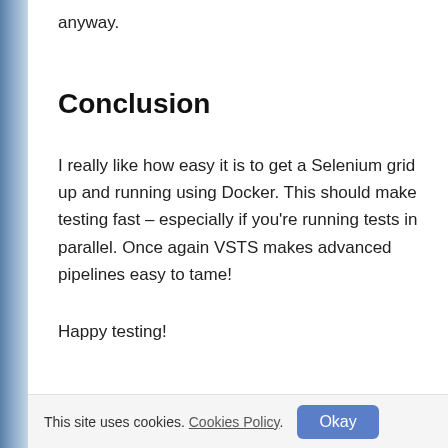anyway.
Conclusion
I really like how easy it is to get a Selenium grid up and running using Docker. This should make testing fast – especially if you're running tests in parallel. Once again VSTS makes advanced pipelines easy to tame!
Happy testing!
This site uses cookies. Cookies Policy. Okay